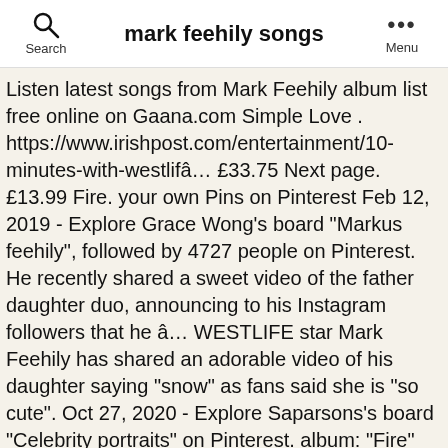mark feehily songs
Listen latest songs from Mark Feehily album list free online on Gaana.com Simple Love . https://www.irishpost.com/entertainment/10-minutes-with-westlifâ€¦ £33.75 Next page. £13.99 Fire. your own Pins on Pinterest Feb 12, 2019 - Explore Grace Wong's board "Markus feehily", followed by 4727 people on Pinterest. He recently shared a sweet video of the father daughter duo, announcing to his Instagram followers that he â€¦ WESTLIFE star Mark Feehily has shared an adorable video of his daughter saying "snow" as fans said she is "so cute". Oct 27, 2020 - Explore Saparsons's board "Celebrity portraits" on Pinterest. album: "Fire" (2015) Love Is A Drug. "Love Is a Drug" is a song by Irish singer and songwriter and former member of Westlife Markus Feehily. Love Me, Or Leave Me Alone. Music; all; Most Read; Most Recent; David Bowie Only true 80s pop music fans will spot the 30 classic songs â€¦ Nov 7, 2017 - This is from Westlife Official Book 'Westlife Our Story' All